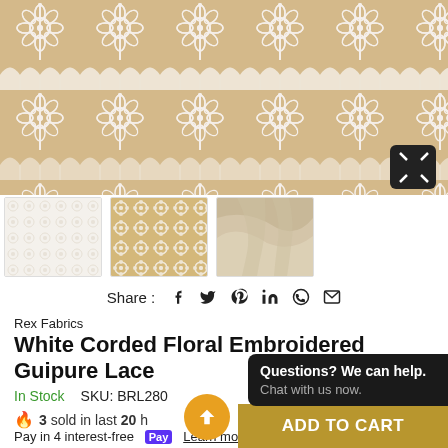[Figure (photo): Main product photo showing white corded floral embroidered guipure lace on a tan/beige background. Intricate floral and fan-shaped lace border pattern visible. Expand icon in bottom-right corner.]
[Figure (photo): Three thumbnail images of the white lace fabric: 1) close-up of white lace texture, 2) detail of floral embroidery pattern on tan background, 3) folded/bunched lace fabric showing texture.]
Share :  f  🐦  𝗣  in  ⊕  ✉
Rex Fabrics
White Corded Floral Embroidered Guipure Lace
In Stock     SKU: BRL280
🔥 3 sold in last 20 h
Pay in 4 interest-free  $17.49 with shopPay  Learn more
Questions? We can help.
Chat with us now.
ADD TO CART